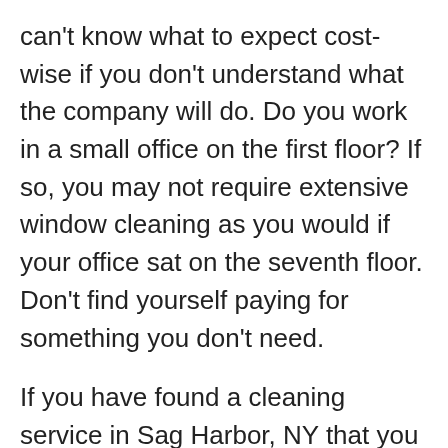can't know what to expect cost-wise if you don't understand what the company will do. Do you work in a small office on the first floor? If so, you may not require extensive window cleaning as you would if your office sat on the seventh floor. Don't find yourself paying for something you don't need.
If you have found a cleaning service in Sag Harbor, NY that you want to know more about, look through what services they offer. Some common services include restocking, disinfecting bathrooms, organizing, carpet or hardwood floor care, and trash removal. Some companies, like Thunderbird Maintenance Corp, offer more extensive services. These can include everything